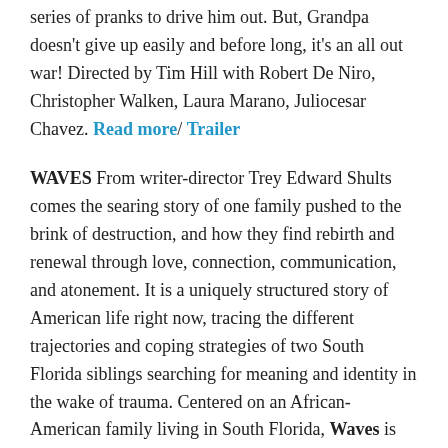series of pranks to drive him out. But, Grandpa doesn't give up easily and before long, it's an all out war! Directed by Tim Hill with Robert De Niro, Christopher Walken, Laura Marano, Juliocesar Chavez. Read more/ Trailer
WAVES From writer-director Trey Edward Shults comes the searing story of one family pushed to the brink of destruction, and how they find rebirth and renewal through love, connection, communication, and atonement. It is a uniquely structured story of American life right now, tracing the different trajectories and coping strategies of two South Florida siblings searching for meaning and identity in the wake of trauma. Centered on an African-American family living in South Florida, Waves is also an examination of parental pressure and the limitations of parental love—how finding communication between parent and child, and